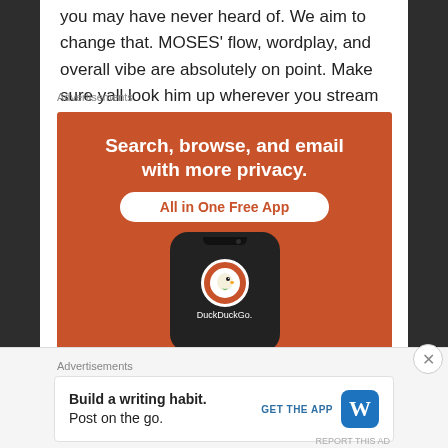you may have never heard of. We aim to change that. MOSES' flow, wordplay, and overall vibe are absolutely on point. Make sure yall look him up wherever you stream music! Thank us later.
Advertisements
[Figure (illustration): DuckDuckGo advertisement: orange background with white bold text 'Search, browse, and email with more privacy.' and a white pill button 'All in One Free App', with a smartphone showing the DuckDuckGo duck logo icon and app name.]
Advertisements
[Figure (illustration): WordPress app advertisement: 'Build a writing habit. Post on the go.' with a blue GET THE APP button and WordPress logo icon.]